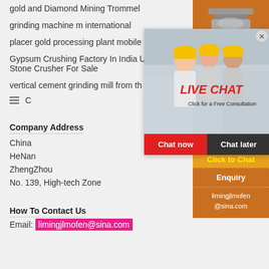gold and Diamond Mining Trommel
grinding machine m international
placer gold processing plant mobile
Gypsum Crushing Factory In India Used Stone Crusher For Sale
vertical cement grinding mill from th
sharp...
[Figure (screenshot): Live chat popup with workers in hard hats, LIVE CHAT text in red, 'Click for a Free Consultation', Chat now and Chat later buttons]
[Figure (photo): Sidebar with orange background showing mining/crushing machines, Enjoy 3% discount, Click to Chat, Enquiry section and email limingjlmofen@sina.com]
Company Address
China
HeNan
ZhengZhou
No. 139, High-tech Zone
How To Contact Us
Email: limingjlmofen@sina.com